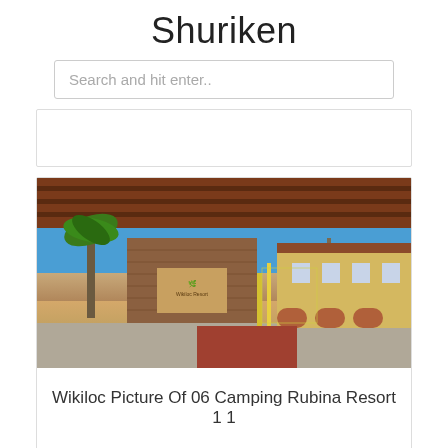Shuriken
Search and hit enter..
[Figure (photo): Blank/empty card area at top]
[Figure (photo): Photograph of entrance to Camping Rubina Resort showing brick gatehouse, overhanging roof, palm trees, and yellow hotel building in background under blue sky]
Wikiloc Picture Of 06 Camping Rubina Resort 1 1
[Figure (photo): Partial view of another card at the bottom showing what appears to be a diagram or schematic with circular elements]